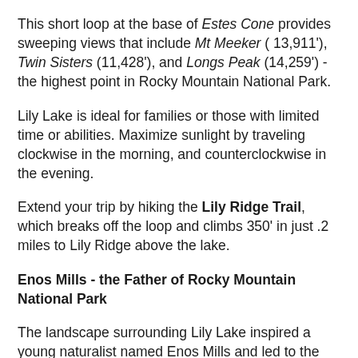This short loop at the base of Estes Cone provides sweeping views that include Mt Meeker ( 13,911'), Twin Sisters (11,428'), and Longs Peak (14,259') - the highest point in Rocky Mountain National Park.
Lily Lake is ideal for families or those with limited time or abilities. Maximize sunlight by traveling clockwise in the morning, and counterclockwise in the evening.
Extend your trip by hiking the Lily Ridge Trail, which breaks off the loop and climbs 350' in just .2 miles to Lily Ridge above the lake.
Enos Mills - the Father of Rocky Mountain National Park
The landscape surrounding Lily Lake inspired a young naturalist named Enos Mills and led to the formation of Rocky Mountain National Park.
In 1884, at only fourteen years old, Mills left Kansas and moved to Colorado, settling in a cabin at the base of Longs Peak. The following year he climbed Longs Peak for the first